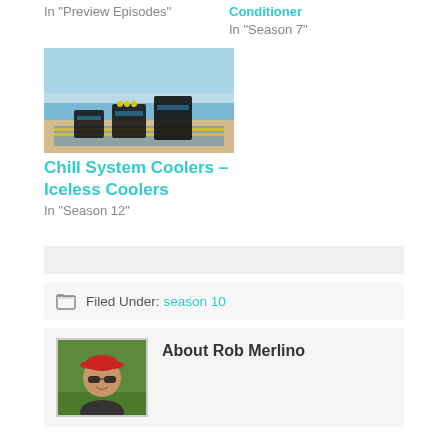In "Preview Episodes"
Conditioner
In "Season 7"
[Figure (photo): Photo of Chill System Coolers (iceless coolers) on a beach with ocean in background]
Chill System Coolers – Iceless Coolers
In "Season 12"
Filed Under: season 10
About Rob Merlino